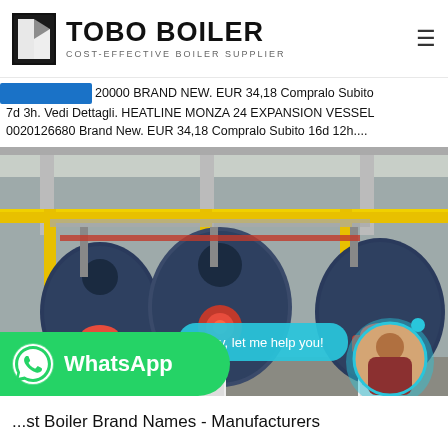[Figure (logo): TOBO BOILER logo with icon and text 'COST-EFFECTIVE BOILER SUPPLIER']
...20000 BRAND NEW. EUR 34,18 Compralo Subito 7d 3h. Vedi Dettagli. HEATLINE MONZA 24 EXPANSION VESSEL 0020126680 Brand New. EUR 34,18 Compralo Subito 16d 12h....
[Figure (photo): Industrial boiler room with three large cylindrical boilers connected by yellow and red piping, with control panels. Overlay shows a chat bubble saying 'Hey, let me help you!' and a customer service avatar.]
[Figure (logo): WhatsApp button in green with WhatsApp icon and label 'WhatsApp']
...st Boiler Brand Names - Manufacturers